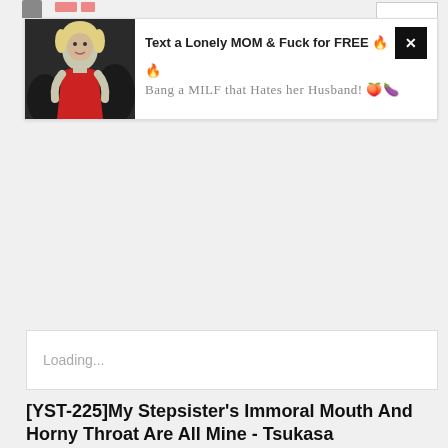[Figure (screenshot): Ad banner with photo of woman in red dress and text about adult content]
Loading...
[YST-225]My Stepsister's Immoral Mouth And Horny Throat Are All Mine - Tsukasa